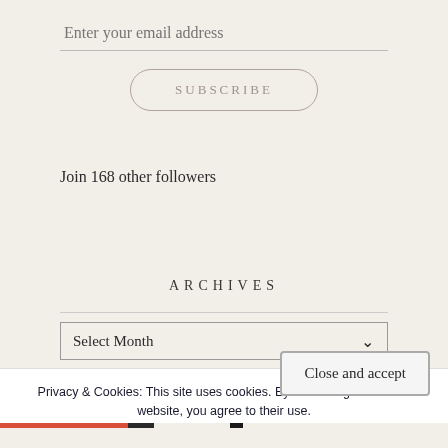[Figure (screenshot): Email subscription input field with placeholder text 'Enter your email address' and a bottom border line]
[Figure (screenshot): SUBSCRIBE button with rounded pill border styling]
Join 168 other followers
ARCHIVES
[Figure (screenshot): Select Month dropdown with chevron arrow]
Privacy & Cookies: This site uses cookies. By continuing to use this website, you agree to their use.
To find out more, including how to control cookies, see here:
Cookie Policy
[Figure (screenshot): Close and accept button with border styling]